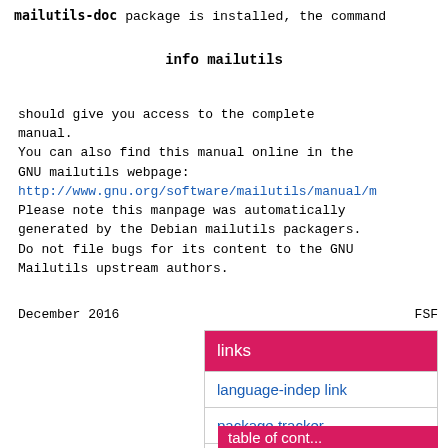mailutils-doc package is installed, the command
info mailutils
should give you access to the complete manual.
You can also find this manual online in the GNU mailutils webpage:
http://www.gnu.org/software/mailutils/manual/m
Please note this manpage was automatically generated by the Debian mailutils packagers. Do not file bugs for its content to the GNU Mailutils upstream authors.
December 2016                                          FSF
| links |
| --- |
| language-indep link |
| package tracker |
| raw man page |
table of cont...